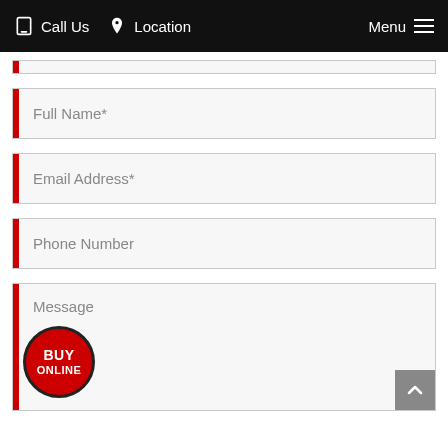Call Us  Location  Menu
Full Name*
Email Address*
Phone Number
Message
[Figure (other): Red circular button with text BUY ONLINE]
[Figure (other): Gray scroll-to-top button with upward chevron arrow]